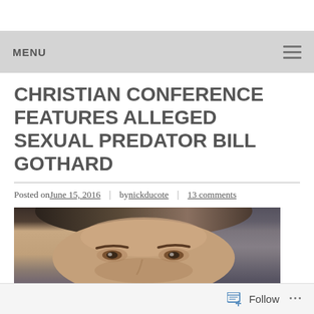MENU
CHRISTIAN CONFERENCE FEATURES ALLEGED SEXUAL PREDATOR BILL GOTHARD
Posted on June 15, 2016 | by nickducote | 13 comments
[Figure (photo): Close-up photo of a man's face, cropped to show forehead, eyes, and upper face against a dark background]
Follow ...